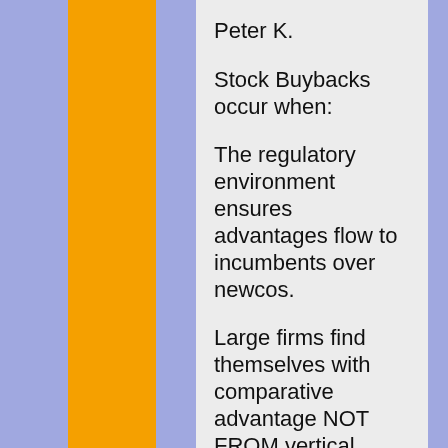Peter K.
Stock Buybacks occur when:
The regulatory environment ensures advantages flow to incumbents over newcos.
Large firms find themselves with comparative advantage NOT FROM vertical integration and